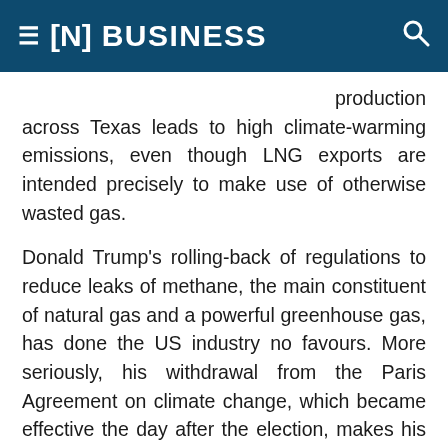≡ [N] BUSINESS 🔍
production across Texas leads to high climate-warming emissions, even though LNG exports are intended precisely to make use of otherwise wasted gas.
Donald Trump's rolling-back of regulations to reduce leaks of methane, the main constituent of natural gas and a powerful greenhouse gas, has done the US industry no favours. More seriously, his withdrawal from the Paris Agreement on climate change, which became effective the day after the election, makes his country the only non-member in the world – a legally and morally vulnerable position. Engie's